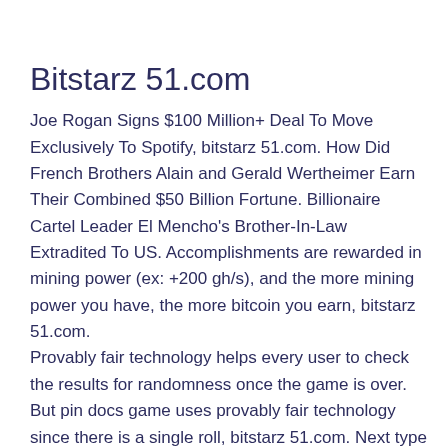Bitstarz 51.com
Joe Rogan Signs $100 Million+ Deal To Move Exclusively To Spotify, bitstarz 51.com. How Did French Brothers Alain and Gerald Wertheimer Earn Their Combined $50 Billion Fortune. Billionaire Cartel Leader El Mencho's Brother-In-Law Extradited To US. Accomplishments are rewarded in mining power (ex: +200 gh/s), and the more mining power you have, the more bitcoin you earn, bitstarz 51.com. Provably fair technology helps every user to check the results for randomness once the game is over. But pin docs game uses provably fair technology since there is a single roll, bitstarz 51.com. Next type of gambling platform is BTC only operators that use cryptocurrencies only and hybrid operators that have currency as the payment